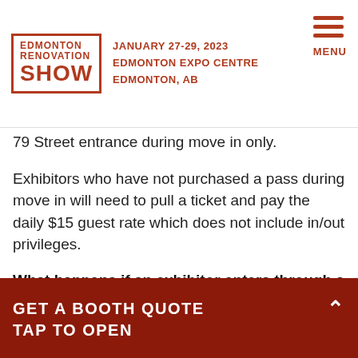EDMONTON RENOVATION SHOW
JANUARY 27-29, 2023
EDMONTON EXPO CENTRE
EDMONTON, AB
79 Street entrance during move in only.
Exhibitors who have not purchased a pass during move in will need to pull a ticket and pay the daily $15 guest rate which does not include in/out privileges.
What happens if an exhibitor enters through a public entrance?
Exhibitors are welcome to enter through the public guest entrances (116 Ave North, 116 Ave South and 73 Street) but will be required to pull a ticket and pay the $15...
GET A BOOTH QUOTE
TAP TO OPEN